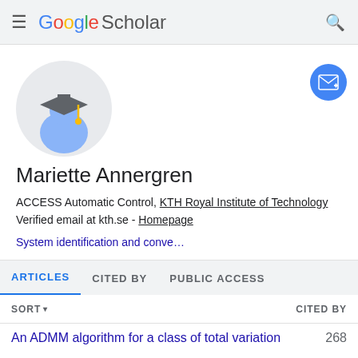Google Scholar
[Figure (illustration): Google Scholar profile avatar: a circular gray background with a blue academic figure wearing a dark graduation cap with a gold tassel.]
Mariette Annergren
ACCESS Automatic Control, KTH Royal Institute of Technology
Verified email at kth.se - Homepage
System identification and conve…
ARTICLES   CITED BY   PUBLIC ACCESS
SORT ▾   CITED BY
An ADMM algorithm for a class of total variation   268